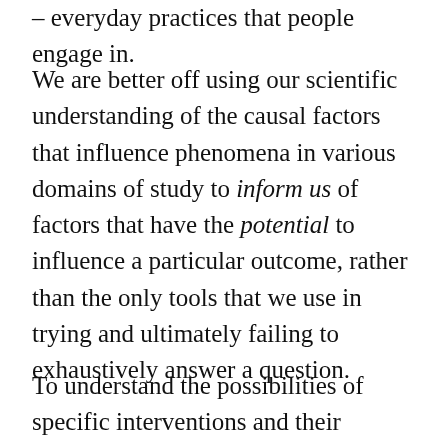– everyday practices that people engage in.
We are better off using our scientific understanding of the causal factors that influence phenomena in various domains of study to inform us of factors that have the potential to influence a particular outcome, rather than the only tools that we use in trying and ultimately failing to exhaustively answer a question.
To understand the possibilities of specific interventions and their chances for success, it is best to start with the wisdom about the